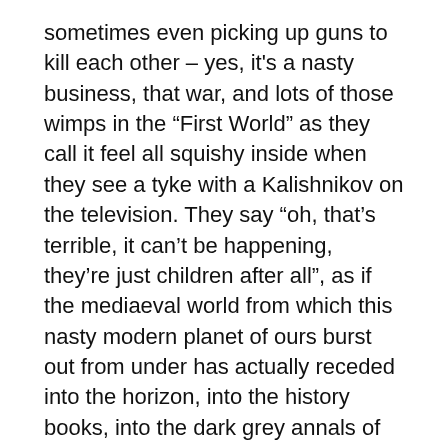sometimes even picking up guns to kill each other – yes, it's a nasty business, that war, and lots of those wimps in the “First World” as they call it feel all squishy inside when they see a tyke with a Kalishnikov on the television. They say “oh, that’s terrible, it can’t be happening, they’re just children after all”, as if the mediaeval world from which this nasty modern planet of ours burst out from under has actually receded into the horizon, into the history books, into the dark grey annals of times gone past where the witches were burned and the men sent off to death, while the women and children tilled the fields until they all died at the ripe old age of fifteen. What can I say: we’ve made progress there, but in other ways we’re still very far behind.
But, of course, amongst the poor warmongering tribes where the world still spins around the moon in the